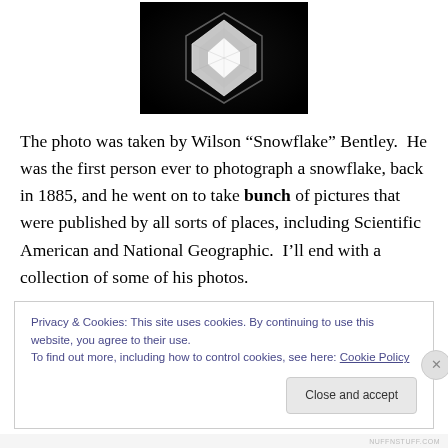[Figure (photo): Black and white close-up photograph of a snowflake crystal, shot from above on a dark background, showing geometric crystal structure]
The photo was taken by Wilson “Snowflake” Bentley.  He was the first person ever to photograph a snowflake, back in 1885, and he went on to take bunch of pictures that were published by all sorts of places, including Scientific American and National Geographic.  I’ll end with a collection of some of his photos.
Privacy & Cookies: This site uses cookies. By continuing to use this website, you agree to their use.
To find out more, including how to control cookies, see here: Cookie Policy